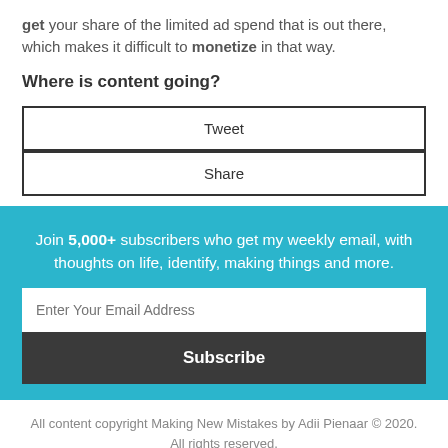get your share of the limited ad spend that is out there, which makes it difficult to monetize in that way.
Where is content going?
Tweet
Share
Join 5,000+ subscribers who get my weekly email, with thoughts on life, identify, making things and more.
Enter Your Email Address
Subscribe
All content copyright Making New Mistakes by Adii Pienaar © 2020. All rights reserved.